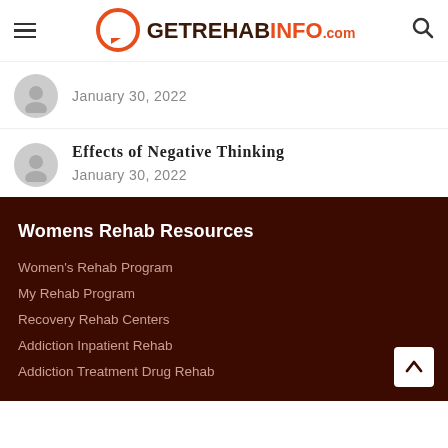GETREHABINFO.com
January 30, 2022
Effects of Negative Thinking
January 30, 2022
Womens Rehab Resources
Women's Rehab Program
My Rehab Program
Recovery Rehab Centers
Addiction Inpatient Rehab
Addiction Treatment Drug Rehab